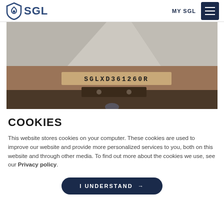SGL — MY SGL
[Figure (photo): Close-up photo of a concrete surface with a metal clamp or bracket stamped SGLXD361260R]
COOKIES
This website stores cookies on your computer. These cookies are used to improve our website and provide more personalized services to you, both on this website and through other media. To find out more about the cookies we use, see our Privacy policy.
I UNDERSTAND →